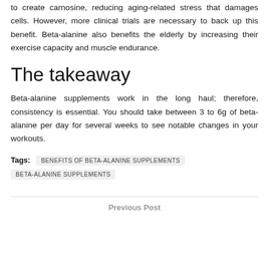to create carnosine, reducing aging-related stress that damages cells. However, more clinical trials are necessary to back up this benefit. Beta-alanine also benefits the elderly by increasing their exercise capacity and muscle endurance.
The takeaway
Beta-alanine supplements work in the long haul; therefore, consistency is essential. You should take between 3 to 6g of beta-alanine per day for several weeks to see notable changes in your workouts.
Tags: BENEFITS OF BETA-ALANINE SUPPLEMENTS BETA-ALANINE SUPPLEMENTS
Previous Post